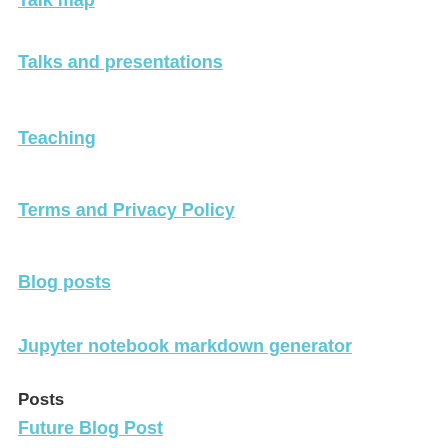Talk map
Talks and presentations
Teaching
Terms and Privacy Policy
Blog posts
Jupyter notebook markdown generator
Posts
Future Blog Post